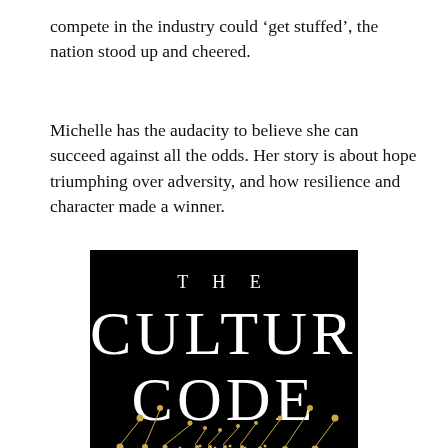compete in the industry could 'get stuffed', the nation stood up and cheered.
Michelle has the audacity to believe she can succeed against all the odds. Her story is about hope triumphing over adversity, and how resilience and character made a winner.
[Figure (illustration): Book cover for 'The Culture Code' with white serif text on black background, decorative gold dots and lines pattern at the bottom.]